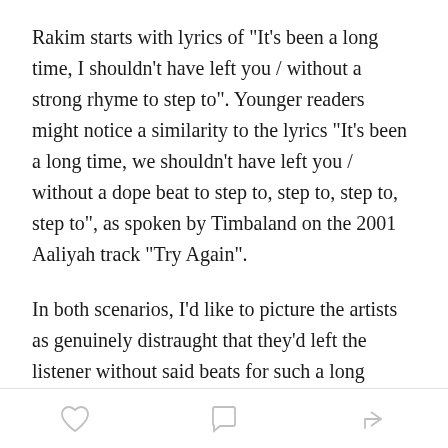Rakim starts with lyrics of "It's been a long time, I shouldn't have left you / without a strong rhyme to step to". Younger readers might notice a similarity to the lyrics "It's been a long time, we shouldn't have left you / without a dope beat to step to, step to, step to, step to", as spoken by Timbaland on the 2001 Aaliyah track "Try Again".
In both scenarios, I'd like to picture the artists as genuinely distraught that they'd left the listener without said beats for such a long amount of time. I imagine them sitting alone in their houses late at night wondering where they went wrong and how they could have left everyone without those beats. Like, maybe they regret not getting into the studio a few years
[Figure (infographic): Bottom action bar with three icons: heart (like), speech bubble (comment), and share arrow]